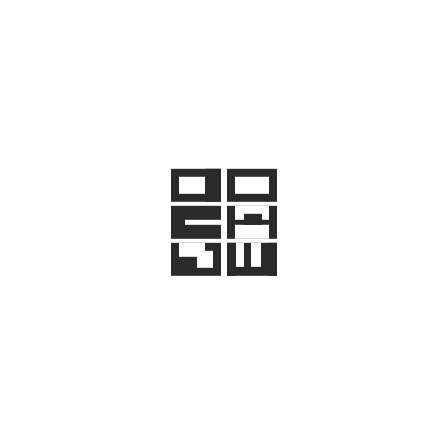[Figure (logo): A square logo composed of bold dark Cyrillic/stylized letters arranged in a 2x3 grid pattern forming a compact block. Top row: CO, middle row: KA, bottom row: RW (or similar Cyrillic characters). The letters are dark charcoal/black on white background, arranged in a square stamp-like composition.]